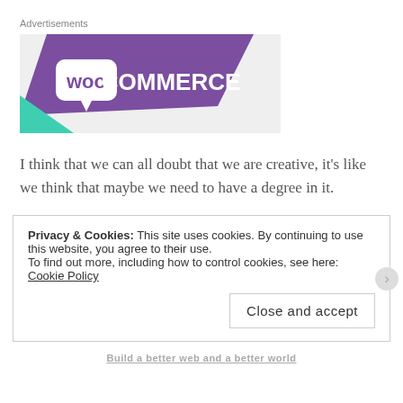Advertisements
[Figure (logo): WooCommerce advertisement banner. Purple diagonal background with white WooCommerce logo (Woo in a speech bubble icon, COMMERCE text). Teal/mint triangle in bottom-left corner on light grey background.]
I think that we can all doubt that we are creative, it's like we think that maybe we need to have a degree in it.
Privacy & Cookies: This site uses cookies. By continuing to use this website, you agree to their use.
To find out more, including how to control cookies, see here: Cookie Policy
Close and accept
Build a better web and a better world